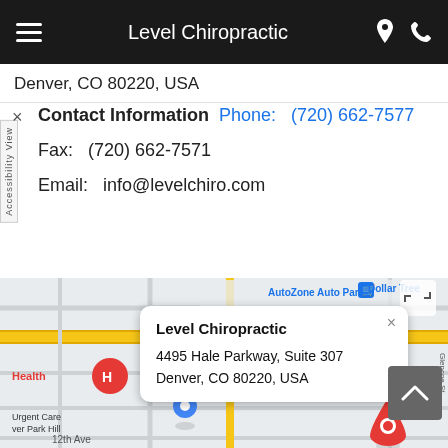Level Chiropractic
Denver, CO 80220, USA
Contact Information  Phone:  (720) 662-7577
Fax:  (720) 662-7571
Email:  info@levelchiro.com
[Figure (map): Google Maps screenshot showing Level Chiropractic location at 4495 Hale Parkway Suite 307, Denver CO 80220, with map popup overlay showing business name and address, nearby landmarks including AutoZone Auto Parts, Dollar Tree, and Urgent Care at Park Hill.]